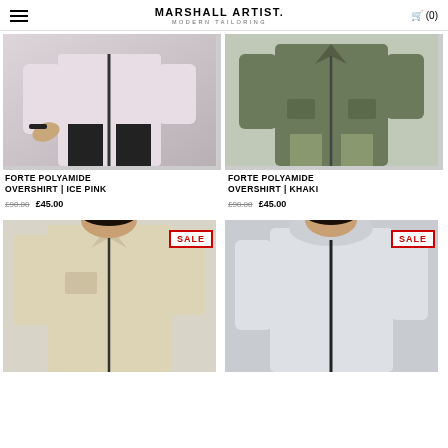MARSHALL ARTIST. MODERN TAILORING | Cart (0)
[Figure (photo): Man in ice pink overshirt, dark trousers, reaching forward, grey background]
FORTE POLYAMIDE OVERSHIRT | ICE PINK
£90.00 £45.00
[Figure (photo): Man in khaki overshirt jacket, hands in pockets, grey background]
FORTE POLYAMIDE OVERSHIRT | KHAKI
£90.00 £45.00
[Figure (photo): Man in beige overshirt, SALE badge, grey background]
[Figure (photo): Man in white/light grey hoodie jacket, SALE badge, grey background]